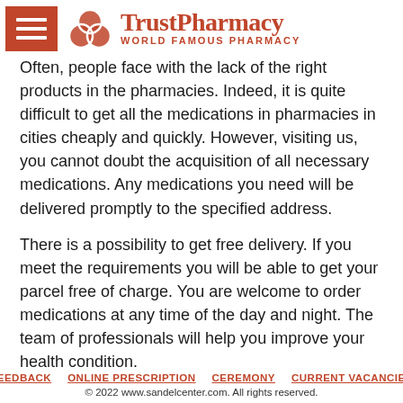TrustPharmacy WORLD FAMOUS PHARMACY
Often, people face with the lack of the right products in the pharmacies. Indeed, it is quite difficult to get all the medications in pharmacies in cities cheaply and quickly. However, visiting us, you cannot doubt the acquisition of all necessary medications. Any medications you need will be delivered promptly to the specified address.
There is a possibility to get free delivery. If you meet the requirements you will be able to get your parcel free of charge. You are welcome to order medications at any time of the day and night. The team of professionals will help you improve your health condition.
FEEDBACK   ONLINE PRESCRIPTION   CEREMONY   CURRENT VACANCIES
© 2022 www.sandelcenter.com. All rights reserved.